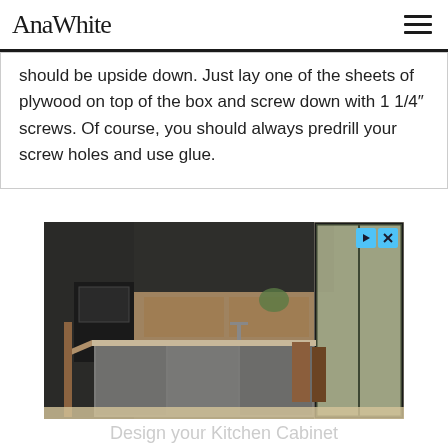AnaWhite
should be upside down. Just lay one of the sheets of plywood on top of the box and screw down with 1 1/4" screws. Of course, you should always predrill your screw holes and use glue.
[Figure (photo): Advertisement showing a modern kitchen with dark cabinetry, concrete-finish island, wooden countertop, and a large window. Has play and close buttons in top right corner.]
Design your Kitchen Cabinet